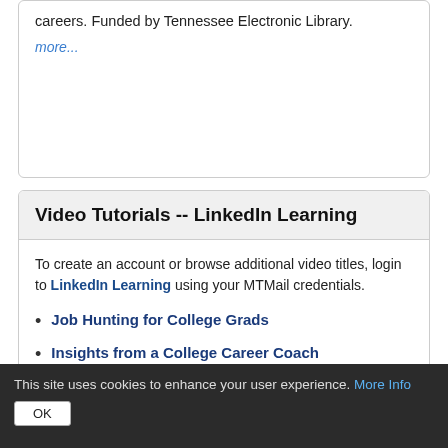careers. Funded by Tennessee Electronic Library.
more...
Video Tutorials -- LinkedIn Learning
To create an account or browse additional video titles, login to LinkedIn Learning using your MTMail credentials.
Job Hunting for College Grads
Insights from a College Career Coach
Writing a Resume
Job Hunting
Mastering Common Interview Questions
This site uses cookies to enhance your user experience. More Info